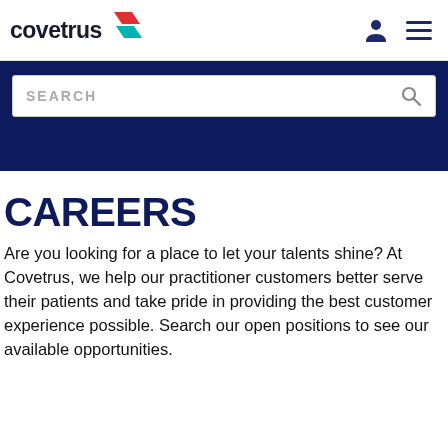[Figure (logo): Covetrus company logo with red and teal geometric diamond shapes]
[Figure (screenshot): Navigation icons: user account icon and hamburger menu icon]
[Figure (screenshot): Search bar with placeholder text SEARCH and magnifying glass icon on dark navy background]
CAREERS
Are you looking for a place to let your talents shine? At Covetrus, we help our practitioner customers better serve their patients and take pride in providing the best customer experience possible. Search our open positions to see our available opportunities.